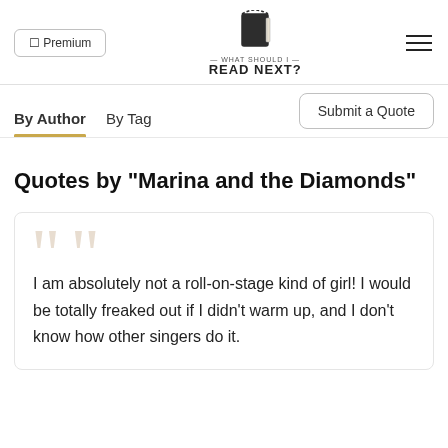⬜ Premium | WHAT SHOULD I READ NEXT? | ☰
By Author | By Tag | Submit a Quote
Quotes by "Marina and the Diamonds"
I am absolutely not a roll-on-stage kind of girl! I would be totally freaked out if I didn't warm up, and I don't know how other singers do it.